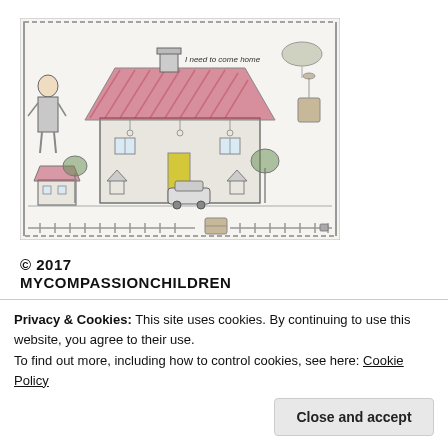[Figure (illustration): A child's pencil and crayon drawing of a house with a pink/red roof, a person standing to the left, trees, a small car, fences, and the text 'I need to come home' written inside the drawing. The scene is enclosed by a fence-like border.]
© 2017 MYCOMPASSIONCHILDREN
Leave a comment
Privacy & Cookies: This site uses cookies. By continuing to use this website, you agree to their use.
To find out more, including how to control cookies, see here: Cookie Policy